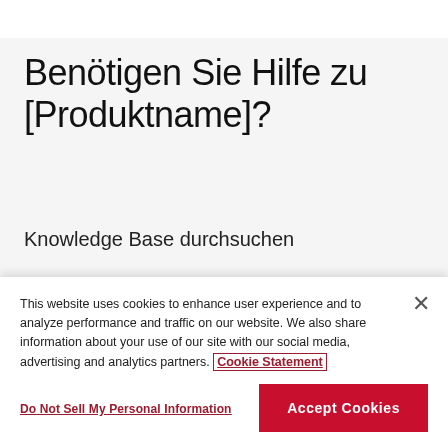Benötigen Sie Hilfe zu [Produktname]?
Knowledge Base durchsuchen
Ein Problem melden
This website uses cookies to enhance user experience and to analyze performance and traffic on our website. We also share information about your use of our site with our social media, advertising and analytics partners. Cookie Statement
Do Not Sell My Personal Information
Accept Cookies